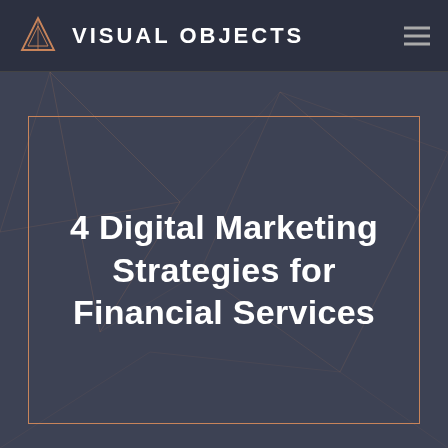VISUAL OBJECTS
4 Digital Marketing Strategies for Financial Services